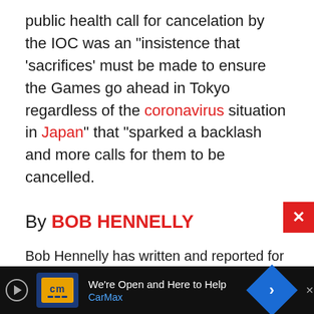public health call for cancelation by the IOC was an "insistence that 'sacrifices' must be made to ensure the Games go ahead in Tokyo regardless of the coronavirus situation in Japan" that "sparked a backlash and more calls for them to be cancelled.
By BOB HENNELLY
Bob Hennelly has written and reported for the Village Voice, Pacifica Radio, WNYC, CBS MoneyWatch and other outlets. His book, "Stuck Nation: Can the United States Change Course on Our History of Choosing Profits Over People?" was published in 2021 by Democracy@Work. He is now a reporter for the Chief-Leader, covering public unions and the civil service in
[Figure (other): CarMax advertisement banner with logo and 'We're Open and Here to Help' tagline]